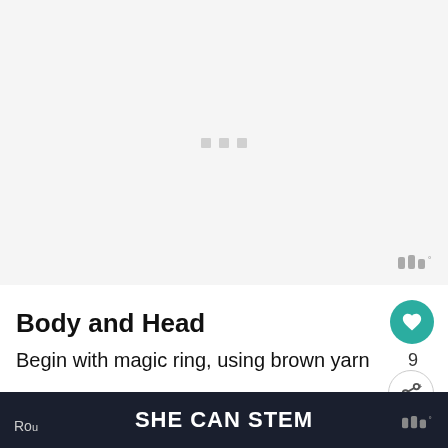[Figure (other): Advertisement placeholder area with light gray background and three small gray dots centered, with a small logo watermark at bottom right]
Body and Head
Begin with magic ring, using brown yarn
Round 1: in mr, ch 1, 6 sc (6 sc)
Ro... SHE CAN STEM